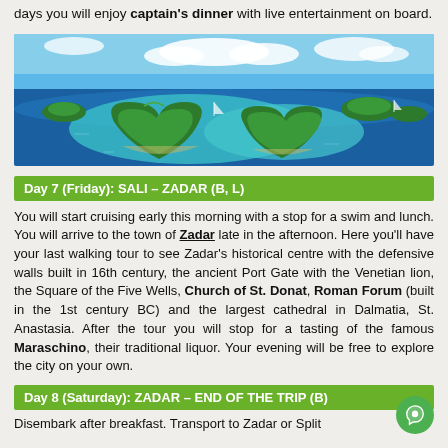days you will enjoy captain's dinner with live entertainment on board.
[Figure (photo): Aerial panoramic view of heart-shaped islands in clear turquoise and blue Adriatic sea waters, with sailboats visible around the islands.]
Day 7 (Friday): SALI – ZADAR (B, L)
You will start cruising early this morning with a stop for a swim and lunch. You will arrive to the town of Zadar late in the afternoon. Here you'll have your last walking tour to see Zadar's historical centre with the defensive walls built in 16th century, the ancient Port Gate with the Venetian lion, the Square of the Five Wells, Church of St. Donat, Roman Forum (built in the 1st century BC) and the largest cathedral in Dalmatia, St. Anastasia. After the tour you will stop for a tasting of the famous Maraschino, their traditional liquor. Your evening will be free to explore the city on your own.
Day 8 (Saturday): ZADAR – END OF THE TRIP (B)
Disembark after breakfast. Transport to Zadar or Split